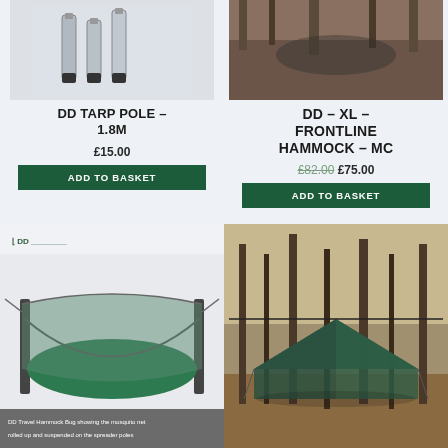[Figure (photo): DD Tarp Pole product photo showing metal poles with rubber ends]
DD TARP POLE – 1.8M
£15.00
ADD TO BASKET
[Figure (photo): DD XL Frontline Hammock MC outdoor photo in forest]
DD – XL – FRONTLINE HAMMOCK – MC
£82.00 £75.00
ADD TO BASKET
[Figure (photo): DD Travel Hammock Bug showing the mosquito net rolled up and suspended on the spreader poles]
DD Travel Hammock Bug showing the mosquito net rolled up and suspended on the spreader poles
[Figure (photo): Dark green tarp shelter pitched between trees in woodland]